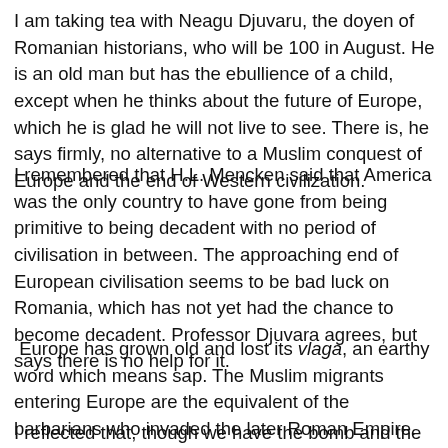I am taking tea with Neagu Djuvaru, the doyen of Romanian historians, who will be 100 in August. He is an old man but has the ebullience of a child, except when he thinks about the future of Europe, which he is glad he will not live to see. There is, he says firmly, no alternative to a Muslim conquest of Europe and the end of Western civilization.
I remembered that H.L. Mencken said that America was the only country to have gone from being primitive to being decadent with no period of civilisation in between. The approaching end of European civilisation seems to be bad luck on Romania, which has not yet had the chance to become decadent. Professor Djuvara agrees, but says there is no help for it.
Europe has grown old and lost its vlaga, an earthy word which means sap. The Muslim migrants entering Europe are the equivalent of the barbarians who invaded the later Roman Empire.
I reflected that, though we have the bomb and the military